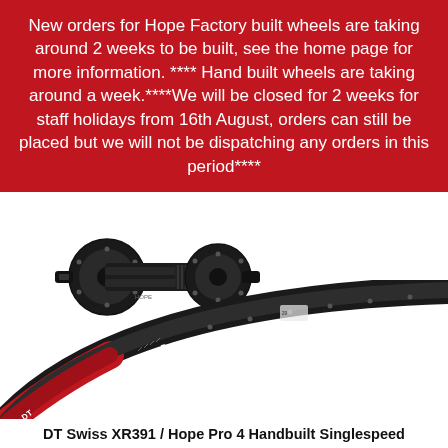New orders for Hope Factory built wheels are taking around 2 weeks to be built, see the home page for more information. **** Hand built wheels are taking around a week.****We will be closed for 2 weeks for staff holidays from 16th August, orders can still be placed but we will not be dispatching any orders in this period****
[Figure (photo): A black bicycle hub (Hope Pro 4) and a curved section of a DT Swiss XR391 bicycle rim with red and white logo markings, shown against a white background.]
DT Swiss XR391 / Hope Pro 4 Handbuilt Singlespeed